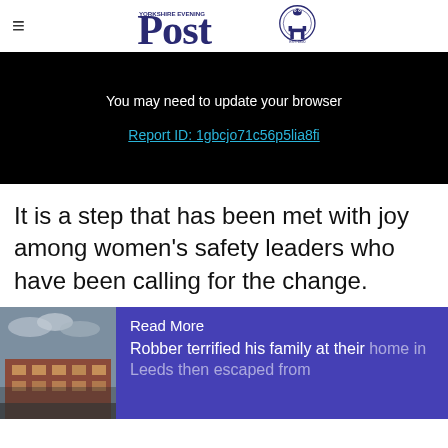Yorkshire Evening Post
[Figure (screenshot): Black browser error box with text 'You may need to update your browser' and a Report ID link: 'Report ID: 1gbcjo71c56p5lia8fi']
It is a step that has been met with joy among women's safety leaders who have been calling for the change.
[Figure (photo): Read More card showing a photo of a brick building in Leeds, with purple background and text: 'Read More' and 'Robber terrified his family at their home in Leeds then escaped from']